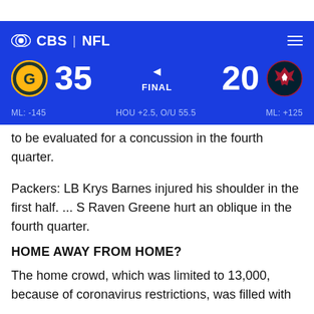CBS | NFL — Navigation bar
[Figure (infographic): NFL scoreboard showing Green Bay Packers 35 vs Houston Texans 20, FINAL. ML: -145 | HOU +2.5, O/U 55.5 | ML: +125]
to be evaluated for a concussion in the fourth quarter.
Packers: LB Krys Barnes injured his shoulder in the first half. ... S Raven Greene hurt an oblique in the fourth quarter.
HOME AWAY FROM HOME?
The home crowd, which was limited to 13,000, because of coronavirus restrictions, was filled with